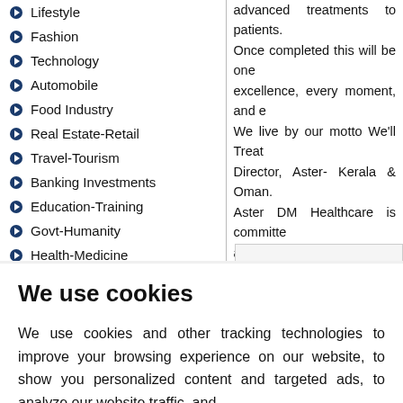Lifestyle
Fashion
Technology
Automobile
Food Industry
Real Estate-Retail
Travel-Tourism
Banking Investments
Education-Training
Govt-Humanity
Health-Medicine
Entertainment
Event and Exibitions
Others
advanced treatments to patients. Once completed this will be one excellence, every moment, and e We live by our motto We'll Treat Director, Aster- Kerala & Oman. Aster DM Healthcare is committe and is at hand to fulfil all medica for millions of patients in the ME problems and hospitals are multip with its patient-centric approach Aster DM Healthcare has always medical facilities in India which o Aster labs and clinics
We use cookies
We use cookies and other tracking technologies to improve your browsing experience on our website, to show you personalized content and targeted ads, to analyze our website traffic, and